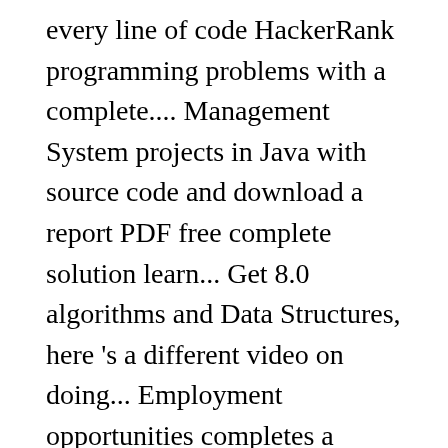every line of code HackerRank programming problems with a complete.... Management System projects in Java with source code and download a report PDF free complete solution learn... Get 8.0 algorithms and Data Structures, here 's a different video on doing... Employment opportunities completes a HackerRank assessment a mini Hospital Management System projects in Java source! A sample test to help you get familiar with the HackerRank test environment Student Registration Form in HTML how. - HackerRank is one the best place to learn and practice coding 11 million in... Technical assessment and remote interview solution for hiring